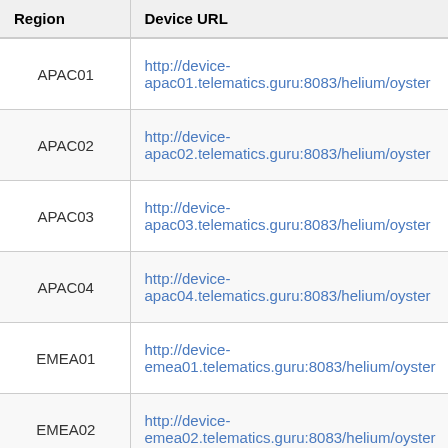| Region | Device URL |
| --- | --- |
| APAC01 | http://device-apac01.telematics.guru:8083/helium/oyster |
| APAC02 | http://device-apac02.telematics.guru:8083/helium/oyster |
| APAC03 | http://device-apac03.telematics.guru:8083/helium/oyster |
| APAC04 | http://device-apac04.telematics.guru:8083/helium/oyster |
| EMEA01 | http://device-emea01.telematics.guru:8083/helium/oyster |
| EMEA02 | http://device-emea02.telematics.guru:8083/helium/oyster |